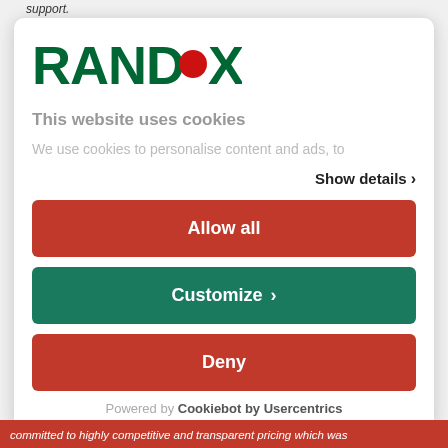support.
[Figure (logo): Randox logo — green bold text 'RANDOX' with a red filled circle as the letter O]
This website uses cookies
We use cookies to personalise content and ads, to
Show details >
Allow all
Customize >
Deny
Powered by Cookiebot by Usercentrics
committed to highly competitive and transparent pricing which was